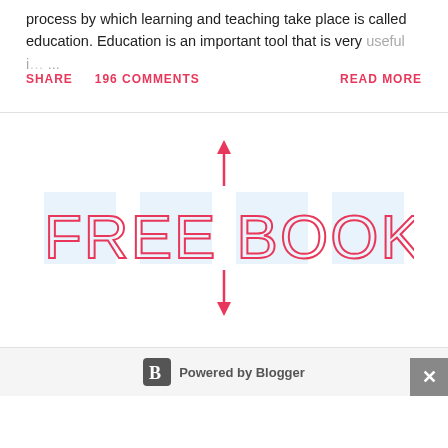process by which learning and teaching take place is called education. Education is an important tool that is very useful i…  ...
SHARE   196 COMMENTS   READ MORE
[Figure (logo): FREE BOOKS PDF logo in red/pink outlined letters with up and down arrows, with light blue rectangular highlight behind text]
Powered by Blogger